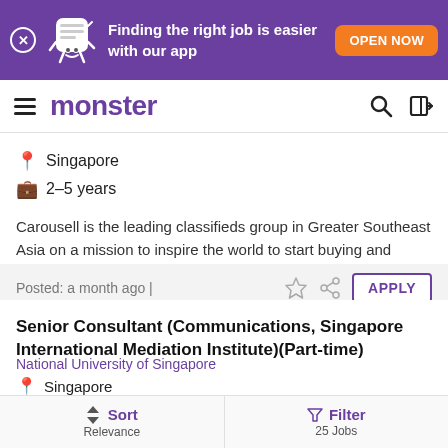[Figure (screenshot): Monster job board app banner with purple background, mascot, text 'Finding the right job is easier with our app', and orange 'OPEN NOW' button]
monster
Singapore
2–5 years
Carousell is the leading classifieds group in Greater Southeast Asia on a mission to inspire the world to start buying and selling, ...
Posted: a month ago |
Senior Consultant (Communications, Singapore International Mediation Institute)(Part-time)
National University of Singapore
Singapore
Sort Relevance | Filter 25 Jobs